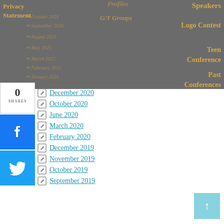Privacy Statement
September 2026
August 2021
May 2021
March 2021
February 2021
January 2021
Profiles
G/T Groups
Speakers
Logo Contest
Teen Conference
Past Conferences
December 2020
October 2020
June 2020
March 2020
February 2020
December 2019
November 2019
October 2019
September 2019